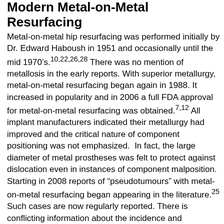Modern Metal-on-Metal Resurfacing
Metal-on-metal hip resurfacing was performed initially by Dr. Edward Haboush in 1951 and occasionally until the mid 1970's.10,22,26,28 There was no mention of metallosis in the early reports. With superior metallurgy, metal-on-metal resurfacing began again in 1988. It increased in popularity and in 2006 a full FDA approval for metal-on-metal resurfacing was obtained.7,12 All implant manufacturers indicated their metallurgy had improved and the critical nature of component positioning was not emphasized. In fact, the large diameter of metal prostheses was felt to protect against dislocation even in instances of component malposition. Starting in 2008 reports of “pseudotumours” with metal-on-metal resurfacing began appearing in the literature.25 Such cases are now regularly reported. There is conflicting information about the incidence and predisposing factors. Implant manufacturers and some surgeons report that women and/or smaller size patients, with or without steep abduction angles, are more likely to develop metallosis.6,15